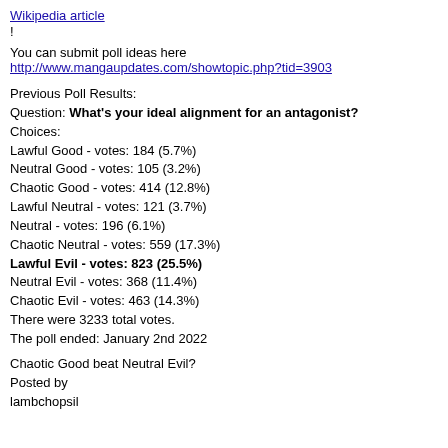Wikipedia article
!
You can submit poll ideas here
http://www.mangaupdates.com/showtopic.php?tid=3903
Previous Poll Results:
Question: What's your ideal alignment for an antagonist?
Choices:
Lawful Good - votes: 184 (5.7%)
Neutral Good - votes: 105 (3.2%)
Chaotic Good - votes: 414 (12.8%)
Lawful Neutral - votes: 121 (3.7%)
Neutral - votes: 196 (6.1%)
Chaotic Neutral - votes: 559 (17.3%)
Lawful Evil - votes: 823 (25.5%)
Neutral Evil - votes: 368 (11.4%)
Chaotic Evil - votes: 463 (14.3%)
There were 3233 total votes.
The poll ended: January 2nd 2022
Chaotic Good beat Neutral Evil?
Posted by
lambchopsil